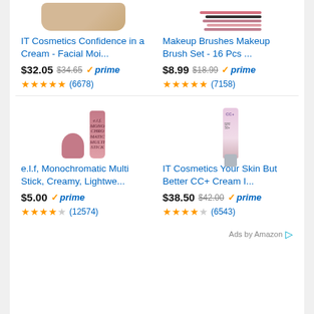[Figure (photo): IT Cosmetics moisturizer cream product image (cropped top)]
[Figure (photo): Makeup brush set product image (cropped top)]
IT Cosmetics Confidence in a Cream - Facial Moi...
Makeup Brushes Makeup Brush Set - 16 Pcs ...
$32.05 $34.65 prime
$8.99 $18.99 prime
(6678)
(7158)
[Figure (photo): e.l.f. Monochromatic Multi Stick product image]
[Figure (photo): IT Cosmetics CC+ Cream product image]
e.l.f, Monochromatic Multi Stick, Creamy, Lightwe...
IT Cosmetics Your Skin But Better CC+ Cream I...
$5.00 prime
$38.50 $42.00 prime
(12574)
(6543)
Ads by Amazon